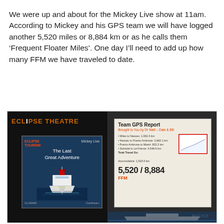We were up and about for the Mickey Live show at 11am. According to Mickey and his GPS team we will have logged another 5,520 miles or 8,884 km or as he calls them ‘Frequent Floater Miles’. One day I’ll need to add up how many FFM we have traveled to date.
[Figure (photo): Two photos side by side: left shows Eclipse Theatre signage with a cruise ship screen display reading 'Mickey Live - The Last Great Adventure'; right shows a GPS Report board displaying '5,520 / 8,884 FFM' with a line chart, branded with Mickey logo.]